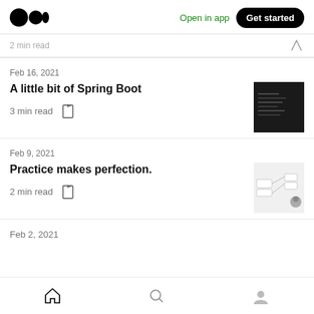Medium logo | Open in app | Get started
2 min read
Feb 16, 2021
A little bit of Spring Boot
3 min read
[Figure (screenshot): Dark-themed code screenshot thumbnail]
Feb 9, 2021
Practice makes perfection.
2 min read
[Figure (diagram): Flow diagram with person icon thumbnail]
Feb 2, 2021
Home | Search | Profile